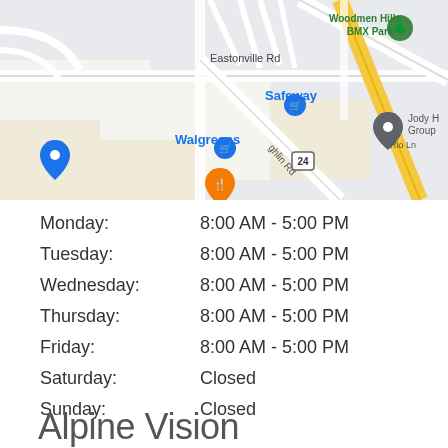[Figure (map): Google Maps view showing Eastonville Rd area with Woodmen Hills BMX Park, Safeway, Walgreens, and Jody H Group markers visible near a highway intersection.]
| Day | Hours |
| --- | --- |
| Monday: | 8:00 AM - 5:00 PM |
| Tuesday: | 8:00 AM - 5:00 PM |
| Wednesday: | 8:00 AM - 5:00 PM |
| Thursday: | 8:00 AM - 5:00 PM |
| Friday: | 8:00 AM - 5:00 PM |
| Saturday: | Closed |
| Sunday: | Closed |
Alpine Vision